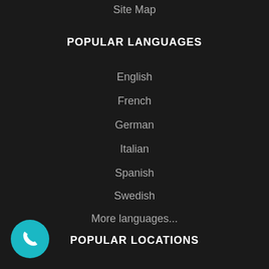Site Map
POPULAR LANGUAGES
English
French
German
Italian
Spanish
Swedish
More languages...
POPULAR LOCATIONS
London
Birmingham
Manchester